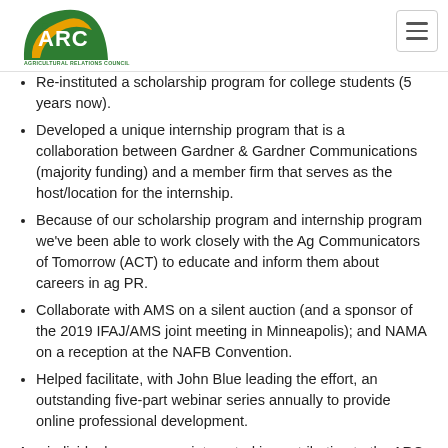[Figure (logo): ARC Agricultural Relations Council logo - green arc shape with orange wheat symbol and green text ARC above AGRICULTURAL RELATIONS COUNCIL]
Re-instituted a scholarship program for college students (5 years now).
Developed a unique internship program that is a collaboration between Gardner & Gardner Communications (majority funding) and a member firm that serves as the host/location for the internship.
Because of our scholarship program and internship program we've been able to work closely with the Ag Communicators of Tomorrow (ACT) to educate and inform them about careers in ag PR.
Collaborate with AMS on a silent auction (and a sponsor of the 2019 IFAJ/AMS joint meeting in Minneapolis); and NAMA on a reception at the NAFB Convention.
Helped facilitate, with John Blue leading the effort, an outstanding five-part webinar series annually to provide online professional development.
Any individual or company interested in contributing to the ARC Foundation Endowment but not specifically tied to a program would of course be welcome to contribute funds as well.